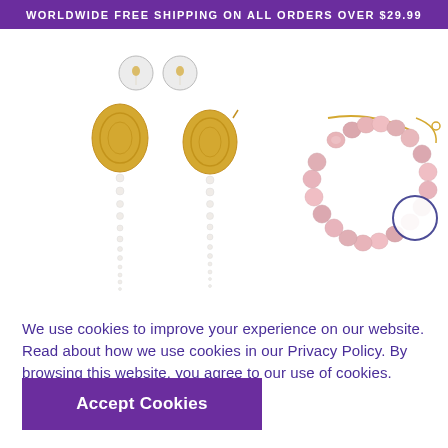WORLDWIDE FREE SHIPPING ON ALL ORDERS OVER $29.99
[Figure (photo): Two small circular thumbnail selectors for jewelry product]
[Figure (photo): Two gold oval drop earrings with pearl chain dangles, displayed side by side]
[Figure (photo): Pink freshwater pearl bracelet with gold chain, with a circular zoom indicator]
We use cookies to improve your experience on our website. Read about how we use cookies in our Privacy Policy. By browsing this website, you agree to our use of cookies.
Accept Cookies